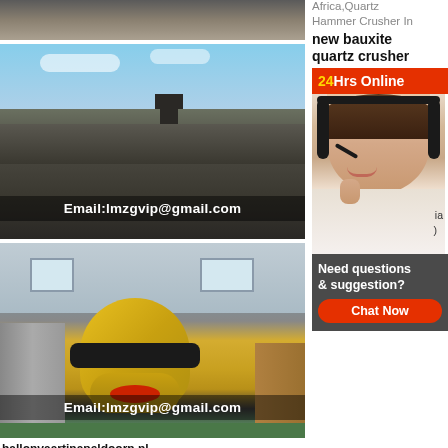[Figure (photo): Top partial image showing dark rocky/mining surface]
[Figure (photo): Open-pit mining site with machinery and piles of crushed rock, with text overlay Email:lmzgvip@gmail.com]
[Figure (photo): Yellow cone crusher machine inside industrial building, with text overlay Email:lmzgvip@gmail.com]
ballonvaartinapeldoorn.nl
Milky Quartz grinding equipments
Africa,Quartz
Hammer Crusher In
new bauxite quartz crusher
24Hrs Online
[Figure (photo): Customer service representative woman wearing headset, smiling]
Need questions & suggestion?
Chat Now